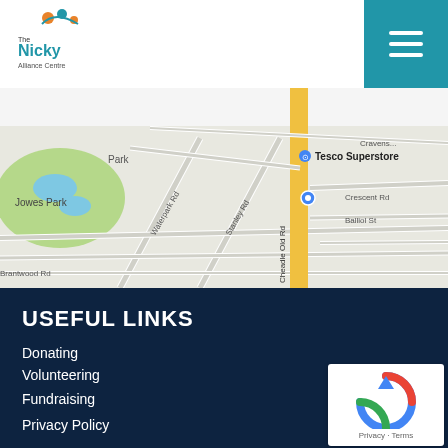The Nicky Alliance Centre logo and navigation menu
[Figure (map): Google Maps view showing area around Tesco Superstore, with roads including Waterpark Rd, Stanley Rd, Crescent Rd, Balliol St, Brantwood Rd; green park with lake labeled Jowes Park; a blue location pin marker visible near Cheadle Old Rd]
USEFUL LINKS
Donating
Volunteering
Fundraising
Privacy Policy